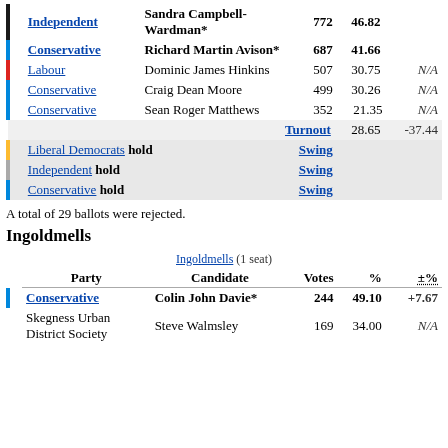|  | Party | Candidate | Votes | % | ±% |
| --- | --- | --- | --- | --- | --- |
|  | Independent | Sandra Campbell-Wardman* | 772 | 46.82 |  |
|  | Conservative | Richard Martin Avison* | 687 | 41.66 |  |
|  | Labour | Dominic James Hinkins | 507 | 30.75 | N/A |
|  | Conservative | Craig Dean Moore | 499 | 30.26 | N/A |
|  | Conservative | Sean Roger Matthews | 352 | 21.35 | N/A |
|  | Turnout |  |  | 28.65 | -37.44 |
|  | Liberal Democrats hold |  | Swing |  |  |
|  | Independent hold |  | Swing |  |  |
|  | Conservative hold |  | Swing |  |  |
A total of 29 ballots were rejected.
Ingoldmells
Ingoldmells (1 seat)
| Party | Candidate | Votes | % | ±% |
| --- | --- | --- | --- | --- |
| Conservative | Colin John Davie* | 244 | 49.10 | +7.67 |
| Skegness Urban District Society | Steve Walmsley | 169 | 34.00 | N/A |